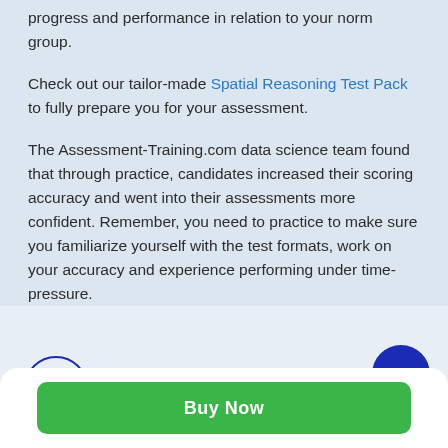progress and performance in relation to your norm group.
Check out our tailor-made Spatial Reasoning Test Pack to fully prepare you for your assessment.
The Assessment-Training.com data science team found that through practice, candidates increased their scoring accuracy and went into their assessments more confident. Remember, you need to practice to make sure you familiarize yourself with the test formats, work on your accuracy and experience performing under time-pressure.
[Figure (logo): Assessment-Training.com logo with head/brain icon, tagline 'Prepare to succeed']
[Figure (other): Scroll-to-top button: dark blue circle with upward chevron]
Buy Now